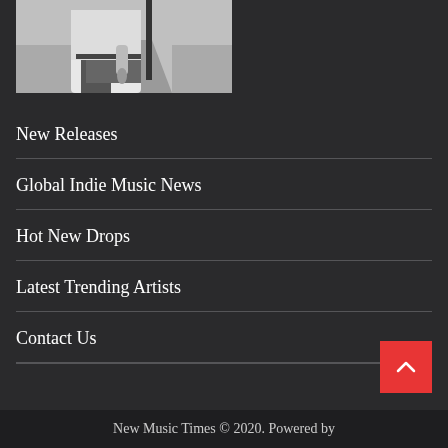[Figure (photo): Black and white photo of a person standing by a rural road with a fence post, holding something, with open fields in the background. Only the lower torso/legs are visible.]
New Releases
Global Indie Music News
Hot New Drops
Latest Trending Artists
Contact Us
New Music Times © 2020. Powered by